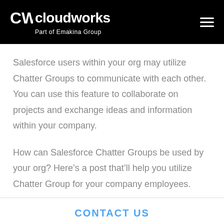cloudworks — Part of Emakina Group
Salesforce users within your org may utilize Chatter Groups to communicate with each other. You can use this feature to collaborate on projects and exchange ideas and information within your company.
How can Salesforce Chatter Groups be used by your org? Here's a post that'll help you utilize Chatter Group for your company employees.
CONTACT US